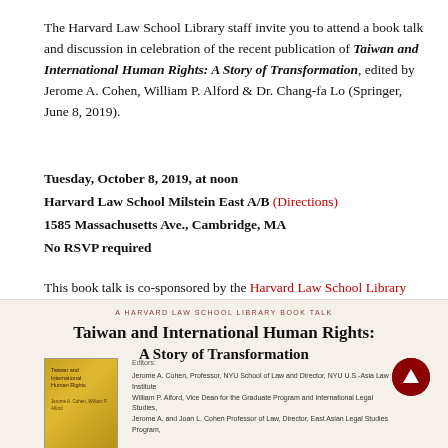The Harvard Law School Library staff invite you to attend a book talk and discussion in celebration of the recent publication of Taiwan and International Human Rights: A Story of Transformation, edited by Jerome A. Cohen, William P. Alford & Dr. Chang-fa Lo (Springer, June 8, 2019).
Tuesday, October 8, 2019, at noon
Harvard Law School Milstein East A/B (Directions)
1585 Massachusetts Ave., Cambridge, MA
No RSVP required
This book talk is co-sponsored by the Harvard Law School Library and East Asian Legal Studies at Harvard Law School.
[Figure (illustration): Book talk promotional card showing title 'Taiwan and International Human Rights: A Story of Transformation', a gold book cover thumbnail on the left, and editors listed on the right. A red scroll-to-top button appears in the lower right.]